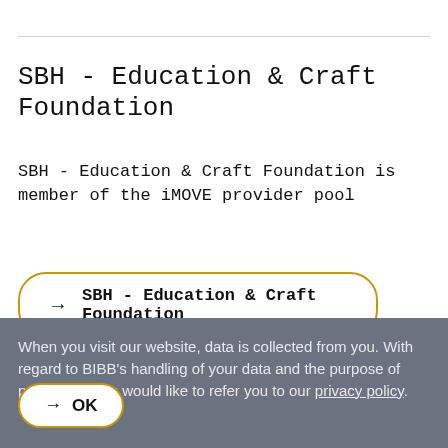SBH - Education & Craft Foundation
SBH - Education & Craft Foundation is member of the iMOVE provider pool
→ SBH - Education & Craft Foundation
When you visit our website, data is collected from you. With regard to BIBB's handling of your data and the purpose of processing, we would like to refer you to our privacy policy.
→ OK